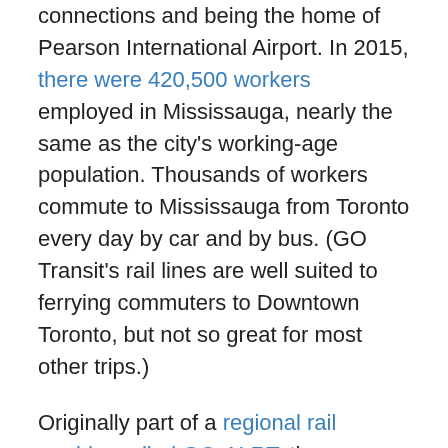connections and being the home of Pearson International Airport. In 2015, there were 420,500 workers employed in Mississauga, nearly the same as the city's working-age population. Thousands of workers commute to Mississauga from Toronto every day by car and by bus. (GO Transit's rail lines are well suited to ferrying commuters to Downtown Toronto, but not so great for most other trips.)
Originally part of a regional rail corridor called GO-ALRT, the Mississauga Transitway alignment was first proposed in the 1980s. The map below, from a planning report and found on the Transit-Toronto website, shows the proposal in 1992. Early plans called for a completely separate bus-only road, and an underground bus tunnel under Renforth Avenue under Square One, and sixteen stations in total. At Renforth Station, connections would be